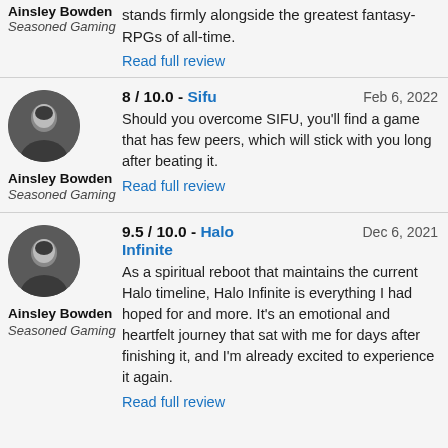stands firmly alongside the greatest fantasy-RPGs of all-time.
Read full review
Ainsley Bowden
Seasoned Gaming
8 / 10.0 - Sifu  Feb 6, 2022
Should you overcome SIFU, you'll find a game that has few peers, which will stick with you long after beating it.
Read full review
Ainsley Bowden
Seasoned Gaming
9.5 / 10.0 - Halo Infinite  Dec 6, 2021
As a spiritual reboot that maintains the current Halo timeline, Halo Infinite is everything I had hoped for and more. It's an emotional and heartfelt journey that sat with me for days after finishing it, and I'm already excited to experience it again.
Read full review
Ainsley Bowden
Seasoned Gaming